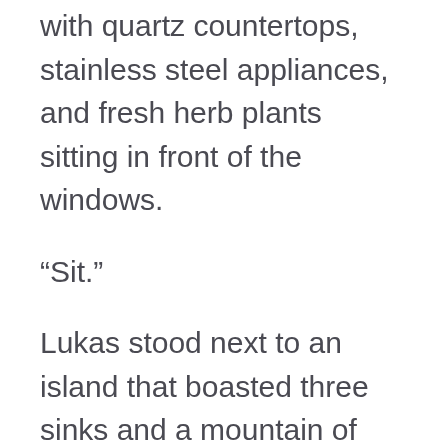with quartz countertops, stainless steel appliances, and fresh herb plants sitting in front of the windows.
“Sit.”
Lukas stood next to an island that boasted three sinks and a mountain of fresh produce on one end. He pulled out a carved stool and waited for her to slide on before turning away.
“Excuse me for a minute.”